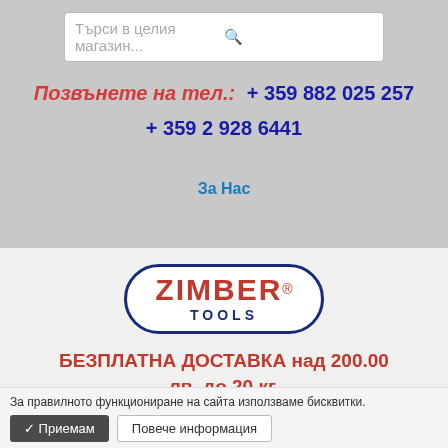[Figure (screenshot): Search bar with placeholder text 'Търси в целия магазин...' and a search icon on the right]
Позвънете на тел.:   + 359 882 025 257
+ 359 2 928 6441
За Нас
[Figure (logo): ZIMBER TOOLS logo in oval border, red bold text ZIMBER with registered trademark, blue text TOOLS]
БЕЗПЛАТНА ДОСТАВКА над 200.00 лв. до 20 кг.
0.00 лв
За правилното функциониране на сайта използваме бисквитки.
✔ Приемам   Повече информация